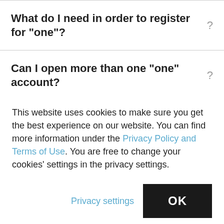What do I need in order to register for "one"?
Can I open more than one "one" account?
This website uses cookies to make sure you get the best experience on our website. You can find more information under the Privacy Policy and Terms of Use. You are free to change your cookies' settings in the privacy settings.
Privacy settings
OK